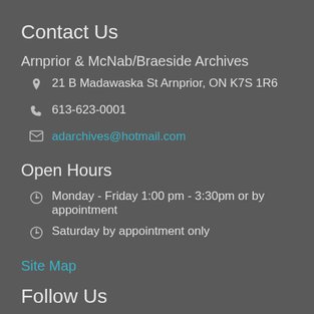Contact Us
Arnprior & McNab/Braeside Archives
21 B Madawaska St Arnprior, ON K7S 1R6
613-623-0001
adarchives@hotmail.com
Open Hours
Monday - Friday 1:00 pm - 3:30pm or by appointment
Saturday by appointment only
Site Map
Follow Us